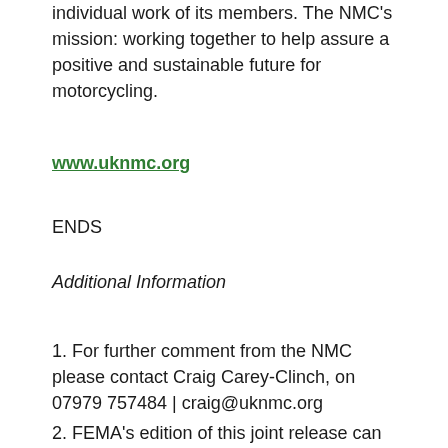individual work of its members. The NMC's mission: working together to help assure a positive and sustainable future for motorcycling.
www.uknmc.org
ENDS
Additional Information
1. For further comment from the NMC please contact Craig Carey-Clinch, on 07979 757484 | craig@uknmc.org
2. FEMA's edition of this joint release can be found here:
http://...